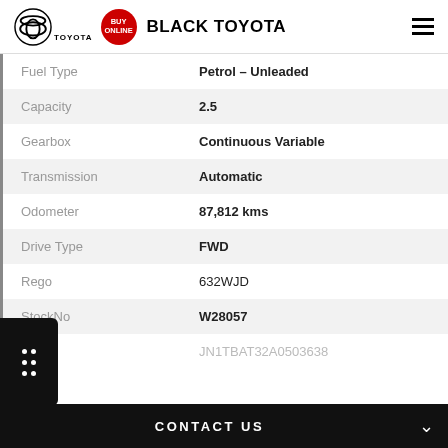BLACK TOYOTA
| Attribute | Value |
| --- | --- |
| Fuel Type | Petrol – Unleaded |
| Capacity | 2.5 |
| Gearbox | Continuous Variable |
| Transmission | Automatic |
| Odometer | 87,812 kms |
| Drive Type | FWD |
| Rego | 632WJD |
| StockNo | W28057 |
| VIN | JN1TBAT32A0503638 |
CONTACT US